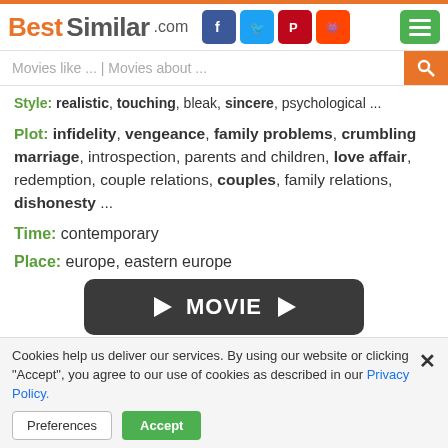BestSimilar.com
Style: realistic, touching, bleak, sincere, psychological ...
Plot: infidelity, vengeance, family problems, crumbling marriage, introspection, parents and children, love affair, redemption, couple relations, couples, family relations, dishonesty ...
Time: contemporary
Place: europe, eastern europe
[Figure (other): Dark rounded rectangle button with play arrows and text MOVIE]
⇓ similarity ⇓
Cookies help us deliver our services. By using our website or clicking "Accept", you agree to our use of cookies as described in our Privacy Policy.